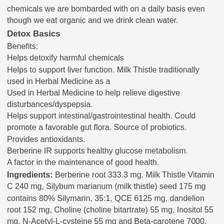chemicals we are bombarded with on a daily basis even though we eat organic and we drink clean water.
Detox Basics
Benefits:
Helps detoxify harmful chemicals
Helps to support liver function. Milk Thistle traditionally used in Herbal Medicine as a
Used in Herbal Medicine to help relieve digestive disturbances/dyspepsia.
Helps support intestinal/gastrointestinal health. Could promote a favorable gut flora. Source of probiotics.
Provides antioxidants.
Berberine IR supports healthy glucose metabolism.
A factor in the maintenance of good health.
Ingredients: Berberine root 333.3 mg. Milk Thistle Vitamin C 240 mg, Silybum marianum (milk thistle) seed 175 mg contains 80% Silymarin, 35:1, QCE 6125 mg, dandelion root 152 mg, Choline (choline bitartrate) 55 mg, Inositol 55 mg, N-Acetyl-L-cysteine 55 mg and Beta-carotene 7000, N-Acetyl-L-Cysteine 300 mg, Curcuma longa (turmeric) rhizome 12.5 Bacillus coagulans (whole cell, MTCC 5856) 1 Billion colony forming units and Inulin 270 mg. Cellulose,